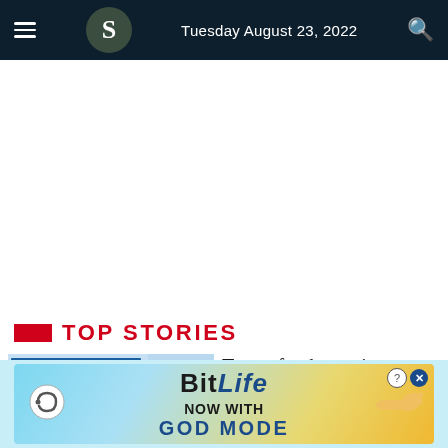Tuesday August 23, 2022
Top Stories
Target food security
[Figure (screenshot): Food safety mechanisms infographic thumbnail showing food stock situation data]
[Figure (screenshot): BitLife advertisement banner: NOW WITH GOD MODE]